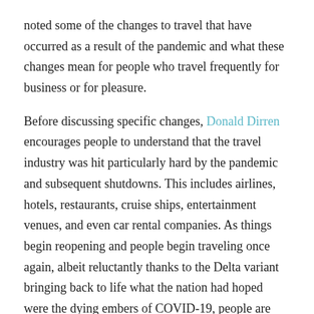noted some of the changes to travel that have occurred as a result of the pandemic and what these changes mean for people who travel frequently for business or for pleasure.
Before discussing specific changes, Donald Dirren encourages people to understand that the travel industry was hit particularly hard by the pandemic and subsequent shutdowns. This includes airlines, hotels, restaurants, cruise ships, entertainment venues, and even car rental companies. As things begin reopening and people begin traveling once again, albeit reluctantly thanks to the Delta variant bringing back to life what the nation had hoped were the dying embers of COVID-19, people are beginning to notice a few lingering changes to how we travel. They aren't necessarily bad things. Just notable.
Paperless check-in options are something that is here to stay for airlines as well as car rental agencies. The convenience it offers is something travelers appreciation and it requires less interaction with employees and less risk of exposing yourself or others to COVID or any other illnesses lurking around. In light of subsequent labor shortages, these